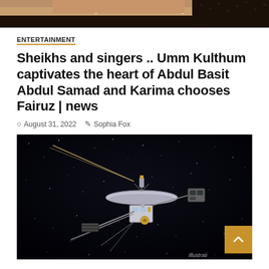[Figure (photo): Cropped top portion of a photo showing a person wearing pearls and a dark outfit]
ENTERTAINMENT
Sheikhs and singers .. Umm Kulthum captivates the heart of Abdul Basit Abdul Samad and Karima chooses Fairuz | news
August 31, 2022   Sophia Fox
[Figure (photo): Illustration of a space probe (Voyager-style spacecraft) against a black starry background. Label 'Illustrati' visible in bottom right corner.]
SCIENCE